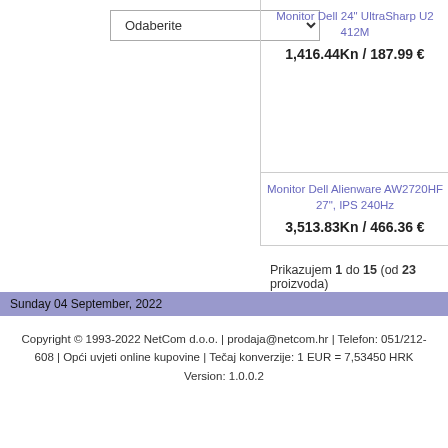Odaberite (dropdown select)
Monitor Dell 24" UltraSharp U2 412M
1,416.44Kn / 187.99 €
Monitor Dell Alienware AW2720HF 27", IPS 240Hz
3,513.83Kn / 466.36 €
Prikazujem 1 do 15 (od 23 proizvoda)
Sunday 04 September, 2022
Copyright © 1993-2022 NetCom d.o.o. | prodaja@netcom.hr | Telefon: 051/212-608 | Opći uvjeti online kupovine | Tečaj konverzije: 1 EUR = 7,53450 HRK Version: 1.0.0.2